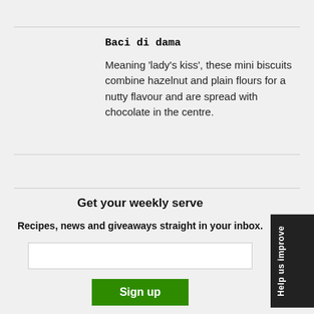Baci di dama
Meaning 'lady's kiss', these mini biscuits combine hazelnut and plain flours for a nutty flavour and are spread with chocolate in the centre.
Get your weekly serve
Recipes, news and giveaways straight in your inbox.
Sign up
By submitting my details, I agree to the terms and conditions and